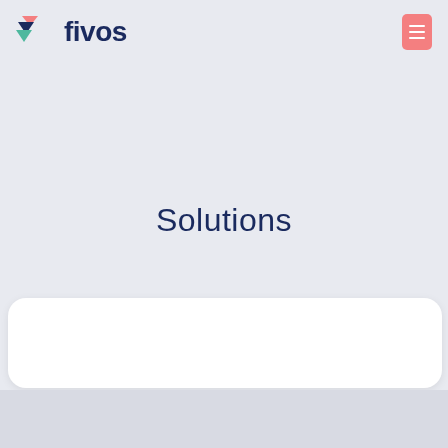[Figure (logo): Fivos logo with stylized arrow/chevron icon in red, green, and dark blue, followed by the text 'fivos' in dark navy]
[Figure (other): Pink/salmon colored menu button rectangle in top right corner]
Solutions
[Figure (other): White rounded rectangle card at bottom of main content area]
[Figure (other): Light gray bottom strip/footer bar]